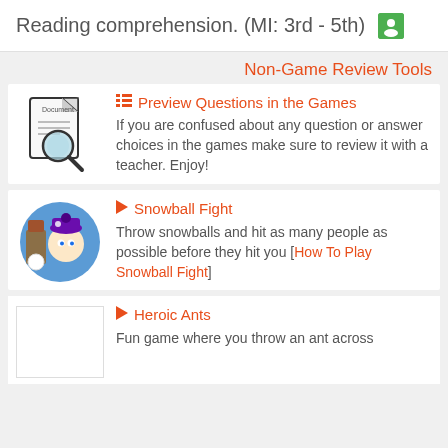Reading comprehension. (MI: 3rd - 5th)
Non-Game Review Tools
Preview Questions in the Games - If you are confused about any question or answer choices in the games make sure to review it with a teacher. Enjoy!
Snowball Fight - Throw snowballs and hit as many people as possible before they hit you [How To Play Snowball Fight]
Heroic Ants - Fun game where you throw an ant across